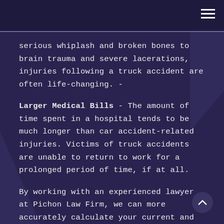≡
serious whiplash and broken bones to brain trauma and severe lacerations, injuries following a truck accident are often life-changing. -
Larger Medical Bills - The amount of time spent in a hospital tends to be much longer than car accident-related injuries. Victims of truck accidents are unable to return to work for a prolonged period of time, if at all.
By working with an experienced lawyer at Pichon Law Firm, we can more accurately calculate your current and future pain and suffering to obtain the compensation you truly deserve. - Greater Chance of Death - An accident with a large commercial truck is far more likely to res in death than a crash between two passenger cars.